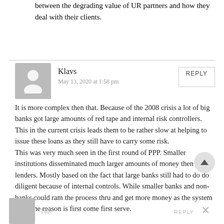between the degrading value of UR partners and how they deal with their clients.
Klavs
May 13, 2020 at 1:58 pm
It is more complex then that. Because of the 2008 crisis a lot of big banks got large amounts of red tape and internal risk controllers. This in the current crisis leads them to be rather slow at helping to issue these loans as they still have to carry some risk.
This was very much seen in the first round of PPP. Smaller institutions disseminated much larger amounts of money then large lenders. Mostly based on the fact that large banks still had to do do diligent because of internal controls. While smaller banks and non-banks could ram the process thru and get more money as the system for some reason is first come first serve.
Hal